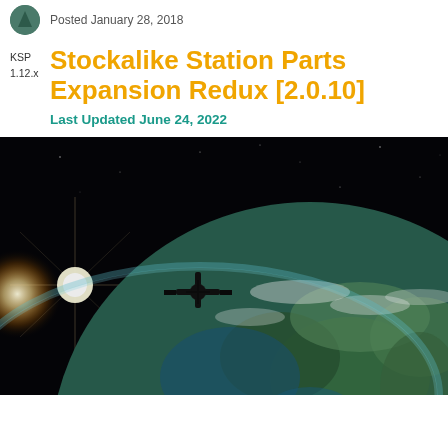Posted January 28, 2018
Stockalike Station Parts Expansion Redux [2.0.10]
KSP 1.12.x
Last Updated June 24, 2022
[Figure (photo): A space station module orbiting above Earth with a bright sun in the background, showing the planet's surface and atmosphere.]